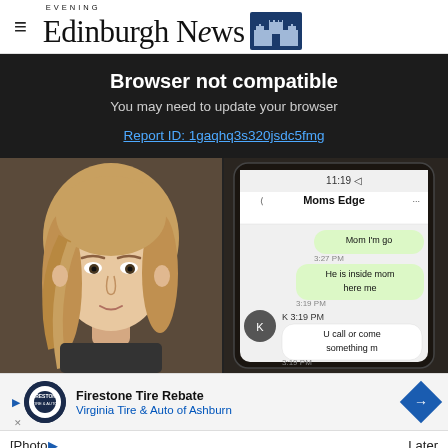Edinburgh Evening News
Browser not compatible
You may need to update your browser
Report ID: 1gaqhq3s320jsdc5fmg
[Figure (photo): Split image: left side shows a young girl with long blonde hair; right side shows a phone screen with text messages reading 'Moms Edge', 'Mom I'm go...', '3:27 PM', 'He is inside mom here me', '3:19 PM', 'K 3:19 PM', 'U call or come something m...', '3:19 PM']
[Figure (infographic): Advertisement banner for Firestone Tire Rebate - Virginia Tire & Auto of Ashburn with play button and diamond arrow icon]
[Photo...  Later